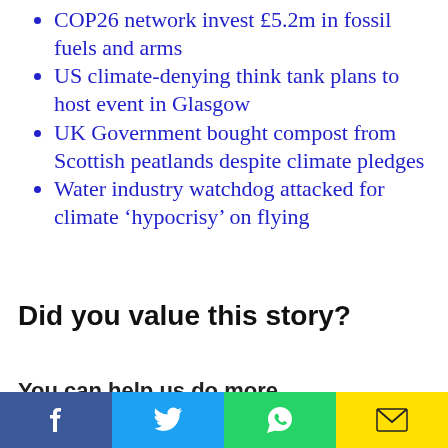COP26 network invest £5.2m in fossil fuels and arms
US climate-denying think tank plans to host event in Glasgow
UK Government bought compost from Scottish peatlands despite climate pledges
Water industry watchdog attacked for climate 'hypocrisy' on flying
Did you value this story?
You can help us do more